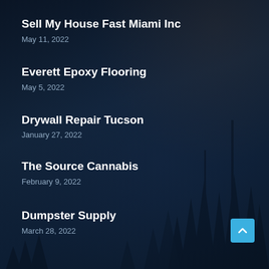Sell My House Fast Miami Inc
May 11, 2022
Everett Epoxy Flooring
May 5, 2022
Drywall Repair Tucson
January 27, 2022
The Source Cannabis
February 9, 2022
Dumpster Supply
March 28, 2022